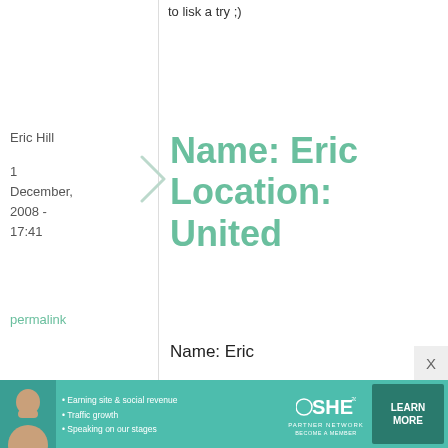to lisk a try ;)
Eric Hill
1 December, 2008 - 17:41
permalink
Name: Eric Location: United
Name: Eric

Location: United States

What great timing,

Nigella Lawson was
[Figure (infographic): SHE Partner Network advertisement banner with woman photo, bullet points about earning site, traffic growth, speaking on stages, SHE logo, and LEARN MORE button]